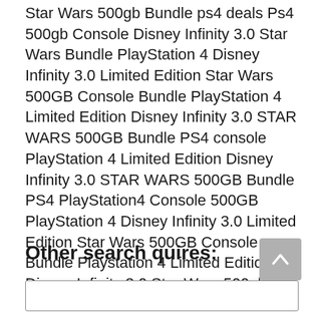Star Wars 500gb Bundle ps4 deals Ps4 500gb Console Disney Infinity 3.0 Star Wars Bundle PlayStation 4 Disney Infinity 3.0 Limited Edition Star Wars 500GB Console Bundle PlayStation 4 Limited Edition Disney Infinity 3.0 STAR WARS 500GB Bundle PS4 console PlayStation 4 Limited Edition Disney Infinity 3.0 STAR WARS 500GB Bundle PS4 PlayStation4 Console 500GB PlayStation 4 Disney Infinity 3.0 Limited Edition Star Wars 500GB Console Bundle Playstation 4 Limited Edition Disney Infinity 3.0 Star Wars 500gb Bundle .
Other search quires:
[Figure (other): Gray scroll-to-top button with upward chevron arrow]